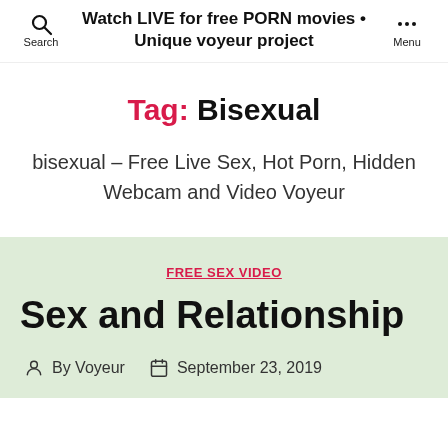Watch LIVE for free PORN movies • Unique voyeur project
Tag: Bisexual
bisexual – Free Live Sex, Hot Porn, Hidden Webcam and Video Voyeur
FREE SEX VIDEO
Sex and Relationship
By Voyeur  September 23, 2019